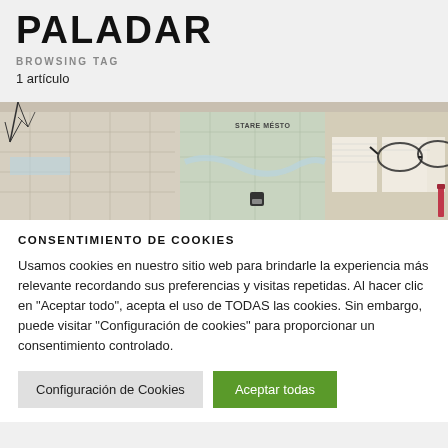PALADAR
BROWSING TAG
1 artículo
[Figure (photo): Aerial view of city maps spread out on a surface with glasses, branches in a vase, and a lipstick visible]
CONSENTIMIENTO DE COOKIES
Usamos cookies en nuestro sitio web para brindarle la experiencia más relevante recordando sus preferencias y visitas repetidas. Al hacer clic en "Aceptar todo", acepta el uso de TODAS las cookies. Sin embargo, puede visitar "Configuración de cookies" para proporcionar un consentimiento controlado.
Configuración de Cookies
Aceptar todas